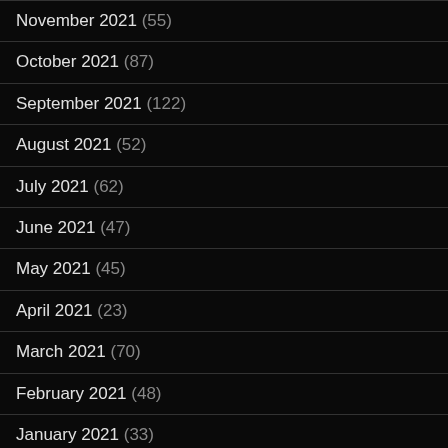November 2021 (55)
October 2021 (87)
September 2021 (122)
August 2021 (52)
July 2021 (62)
June 2021 (47)
May 2021 (45)
April 2021 (23)
March 2021 (70)
February 2021 (48)
January 2021 (33)
December 2020 (46)
November 2020 (52)